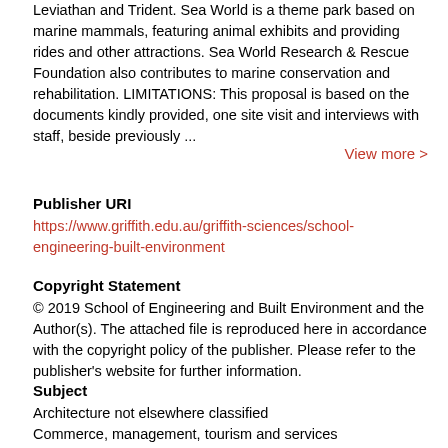Leviathan and Trident. Sea World is a theme park based on marine mammals, featuring animal exhibits and providing rides and other attractions. Sea World Research & Rescue Foundation also contributes to marine conservation and rehabilitation. LIMITATIONS: This proposal is based on the documents kindly provided, one site visit and interviews with staff, beside previously ...
View more >
Publisher URI
https://www.griffith.edu.au/griffith-sciences/school-engineering-built-environment
Copyright Statement
© 2019 School of Engineering and Built Environment and the Author(s). The attached file is reproduced here in accordance with the copyright policy of the publisher. Please refer to the publisher's website for further information.
Subject
Architecture not elsewhere classified
Commerce, management, tourism and services